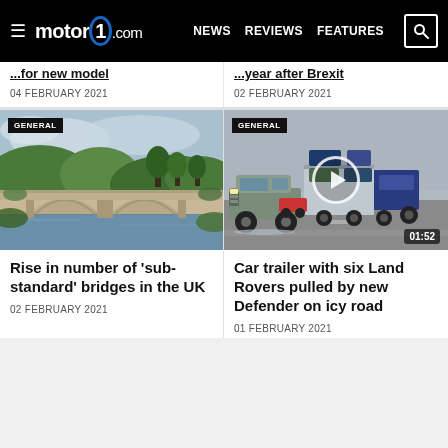motor1.com — NEWS  REVIEWS  FEATURES
...for new model
04 FEBRUARY 2021
...year after Brexit
02 FEBRUARY 2021
[Figure (photo): Stone arch bridge over a river with trees and hills in background]
GENERAL
Rise in number of 'sub-standard' bridges in the UK
02 FEBRUARY 2021
[Figure (photo): Land Rover Defender towing a car transporter trailer loaded with six Land Rovers on an icy road, with video play button and timer 01:52]
GENERAL
Car trailer with six Land Rovers pulled by new Defender on icy road
01 FEBRUARY 2021